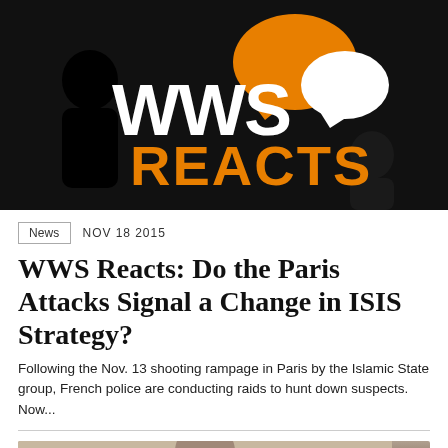[Figure (logo): WWS Reacts logo — black background with silhouetted figures, orange speech bubble, white speech bubble, white text 'WWS' and orange text 'REACTS']
News   NOV 18 2015
WWS Reacts: Do the Paris Attacks Signal a Change in ISIS Strategy?
Following the Nov. 13 shooting rampage in Paris by the Islamic State group, French police are conducting raids to hunt down suspects. Now...
[Figure (photo): Partial photo of a person, cropped at bottom of page]